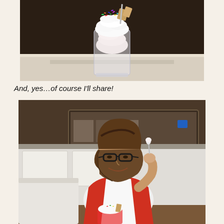[Figure (photo): A tall glass cup filled with ice cream, topped with colorful sprinkles, whipped cream, and cookies, on a white surface against a dark background in an ice cream shop.]
And, yes…of course I'll share!
[Figure (photo): A woman with curly brown hair and black glasses, wearing a red cardigan over a white shirt, smiling and eating ice cream from a cup with a spoon, seated in an ice cream shop with a display case in the background.]